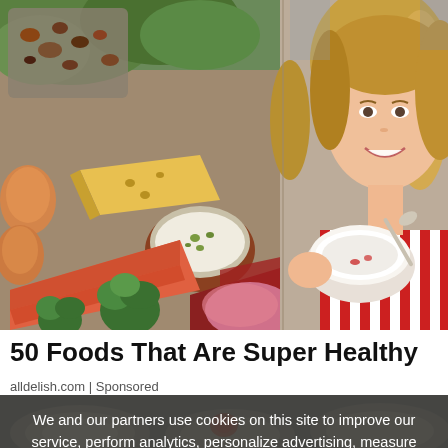[Figure (photo): A collage photo: left side shows a spread of healthy foods including salmon, broccoli, eggs, cheese, nuts, greens, meat, and a bowl of cream/dip on a wooden surface; right side shows a smiling blonde woman in a red and white striped shirt holding a white bowl and spoon, eating.]
50 Foods That Are Super Healthy
alldelish.com | Sponsored
We and our partners use cookies on this site to improve our service, perform analytics, personalize advertising, measure advertising performance, and remember website preferences.
[Figure (photo): Partial background image of sliced onions on a dark surface, partially visible behind the cookie consent overlay.]